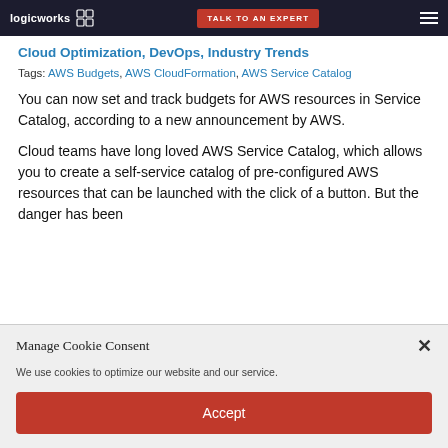logicworks | TALK TO AN EXPERT
Cloud Optimization, DevOps, Industry Trends
Tags: AWS Budgets, AWS CloudFormation, AWS Service Catalog
You can now set and track budgets for AWS resources in Service Catalog, according to a new announcement by AWS.
Cloud teams have long loved AWS Service Catalog, which allows you to create a self-service catalog of pre-configured AWS resources that can be launched with the click of a button. But the danger has been
Manage Cookie Consent
We use cookies to optimize our website and our service.
Accept